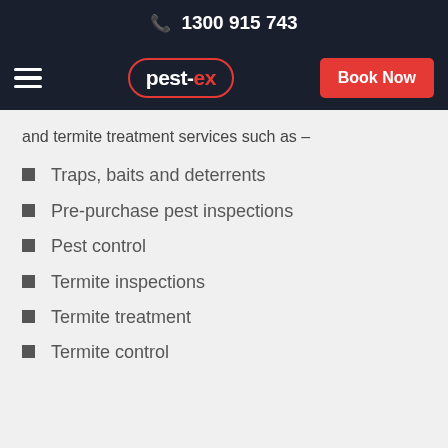1300 915 743
[Figure (logo): pest-ex logo with hamburger menu and Book Now button]
and termite treatment services such as –
Traps, baits and deterrents
Pre-purchase pest inspections
Pest control
Termite inspections
Termite treatment
Termite control